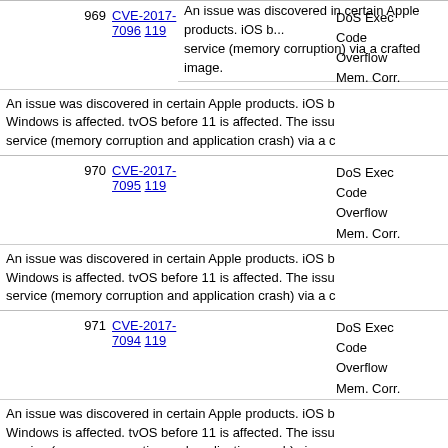An issue was discovered in certain Apple products. iOS b... service (memory corruption) via a crafted image.
| # | CVE | Score | Types |
| --- | --- | --- | --- |
| 969 | CVE-2017-7096  119 |  | DoS Exec Code Overflow Mem. Corr. |
|  | An issue was discovered in certain Apple products. iOS b... Windows is affected. tvOS before 11 is affected. The iss... service (memory corruption and application crash) via a ... |  |  |
| 970 | CVE-2017-7095  119 |  | DoS Exec Code Overflow Mem. Corr. |
|  | An issue was discovered in certain Apple products. iOS b... Windows is affected. tvOS before 11 is affected. The iss... service (memory corruption and application crash) via a ... |  |  |
| 971 | CVE-2017-7094  119 |  | DoS Exec Code Overflow Mem. Corr. |
|  | An issue was discovered in certain Apple products. iOS b... Windows is affected. tvOS before 11 is affected. The iss... service (memory corruption and application crash) via a ... |  |  |
| 972 | CVE-2017-7093  119 |  | DoS Exec Code |